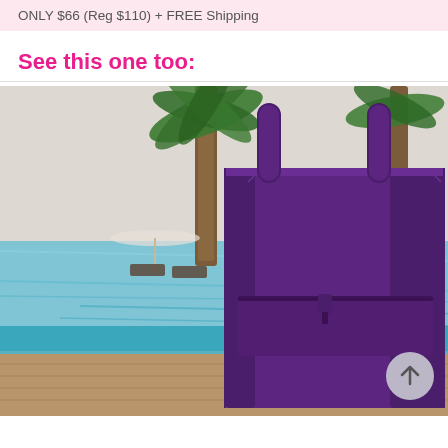ONLY $66 (Reg $110) + FREE Shipping
See this one too:
[Figure (photo): Purple large tote bag with zipper pocket, photographed outdoors near a tropical pool with palm trees in the background. A scroll-to-top button appears in the bottom right corner of the image.]